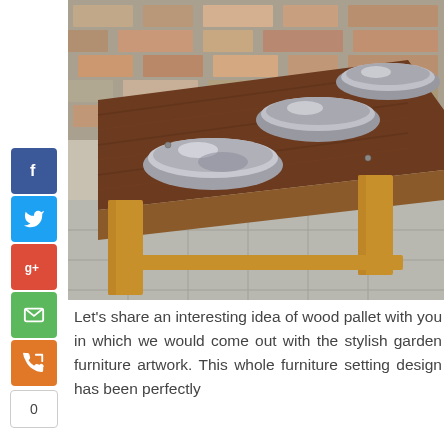[Figure (photo): A rustic wooden pallet dog feeding station with three stainless steel bowls set into a dark-stained wooden plank top supported by light wood legs, placed on a stone tile outdoor surface with a stone brick wall in the background.]
Let’s share an interesting idea of wood pallet with you in which we would come out with the stylish garden furniture artwork. This whole furniture setting design has been perfectly